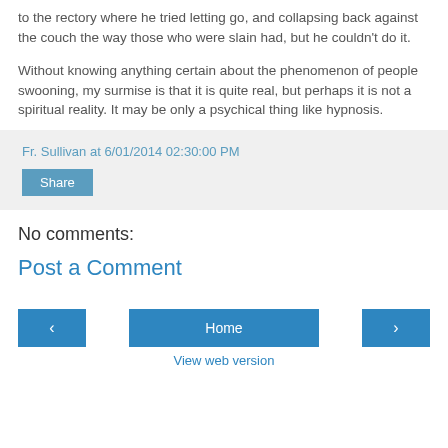to the rectory where he tried letting go, and collapsing back against the couch the way those who were slain had, but he couldn't do it.
Without knowing anything certain about the phenomenon of people swooning, my surmise is that it is quite real, but perhaps it is not a spiritual reality. It may be only a psychical thing like hypnosis.
Fr. Sullivan at 6/01/2014 02:30:00 PM
Share
No comments:
Post a Comment
Home
View web version